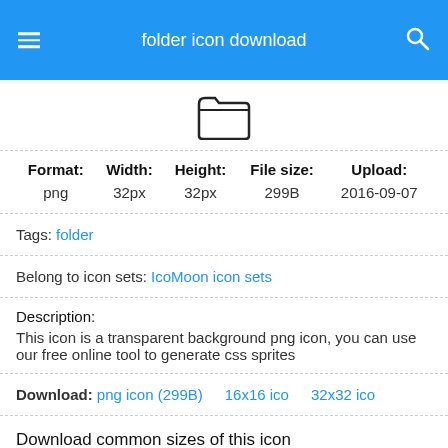folder icon download
[Figure (illustration): Folder icon outline in black on white background]
| Format: | Width: | Height: | File size: | Upload: |
| --- | --- | --- | --- | --- |
| png | 32px | 32px | 299B | 2016-09-07 |
Tags: folder
Belong to icon sets: IcoMoon icon sets
Description:
This icon is a transparent background png icon, you can use our free online tool to generate css sprites
Download: png icon (299B)   16x16 ico   32x32 ico
Download common sizes of this icon